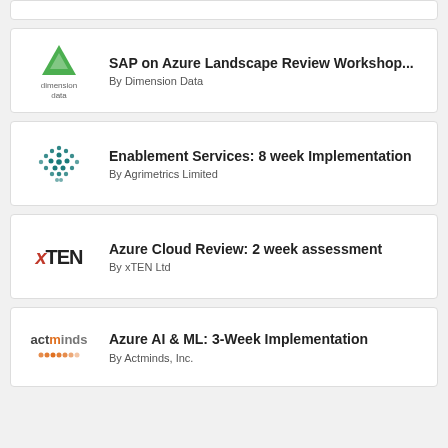[Figure (logo): Partial card visible at top]
SAP on Azure Landscape Review Workshop...
By Dimension Data
[Figure (logo): Dimension Data logo: green triangle with 'dimension data' text below]
Enablement Services: 8 week Implementation
By Agrimetrics Limited
[Figure (logo): Agrimetrics logo: teal dot pattern sphere]
Azure Cloud Review: 2 week assessment
By xTEN Ltd
[Figure (logo): xTEN logo in red and black]
Azure AI & ML: 3-Week Implementation
By Actminds, Inc.
[Figure (logo): actminds logo in orange and grey]